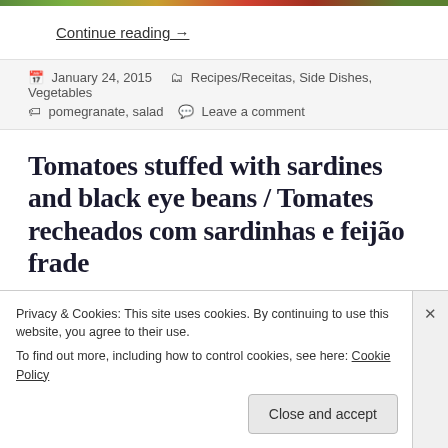[Figure (photo): Colorful food photo strip at top of page]
Continue reading →
January 24, 2015   Recipes/Receitas, Side Dishes, Vegetables   pomegranate, salad   Leave a comment
Tomatoes stuffed with sardines and black eye beans / Tomates recheados com sardinhas e feijão frade
Privacy & Cookies: This site uses cookies. By continuing to use this website, you agree to their use.
To find out more, including how to control cookies, see here: Cookie Policy